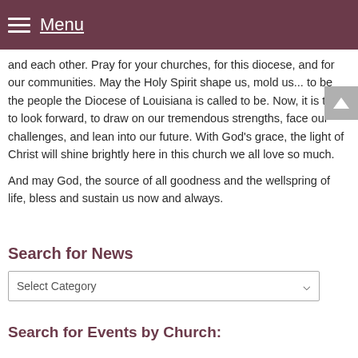Menu
and each other. Pray for your churches, for this diocese, and for our communities. May the Holy Spirit shape us, mold us... to be the people the Diocese of Louisiana is called to be. Now, it is time to look forward, to draw on our tremendous strengths, face our challenges, and lean into our future. With God’s grace, the light of Christ will shine brightly here in this church we all love so much.
And may God, the source of all goodness and the wellspring of life, bless and sustain us now and always.
Search for News
Select Category
Search for Events by Church: